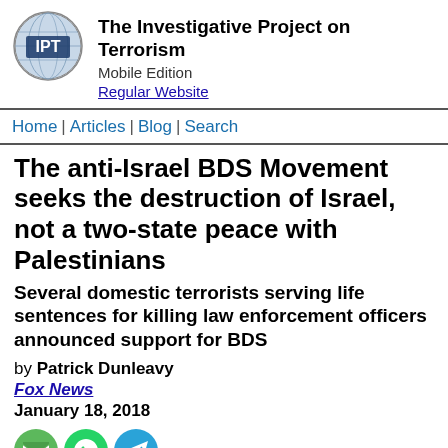The Investigative Project on Terrorism
Mobile Edition
Regular Website
Home | Articles | Blog | Search
The anti-Israel BDS Movement seeks the destruction of Israel, not a two-state peace with Palestinians
Several domestic terrorists serving life sentences for killing law enforcement officers announced support for BDS
by Patrick Dunleavy
Fox News
January 18, 2018
[Figure (other): Three sharing icons: email (green envelope), WhatsApp (green circle), Telegram (blue arrow)]
This article was first published by Fox News.
The anti-Israel Boycott, Divestment and Sanctions (BDS)